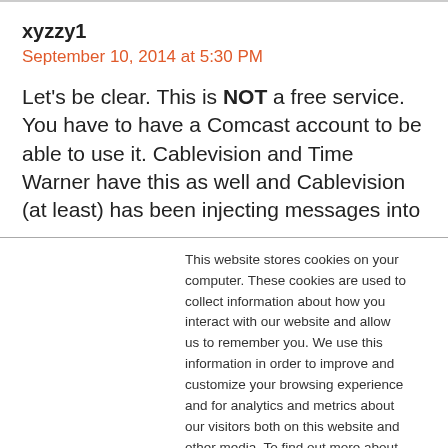xyzzy1
September 10, 2014 at 5:30 PM
Let's be clear. This is NOT a free service. You have to have a Comcast account to be able to use it. Cablevision and Time Warner have this as well and Cablevision (at least) has been injecting messages into
This website stores cookies on your computer. These cookies are used to collect information about how you interact with our website and allow us to remember you. We use this information in order to improve and customize your browsing experience and for analytics and metrics about our visitors both on this website and other media. To find out more about the cookies we use, see our Privacy Policy. California residents have the right to direct us not to sell their personal information to third parties by filing an Opt-Out Request: Do Not Sell My Personal Info.
Accept